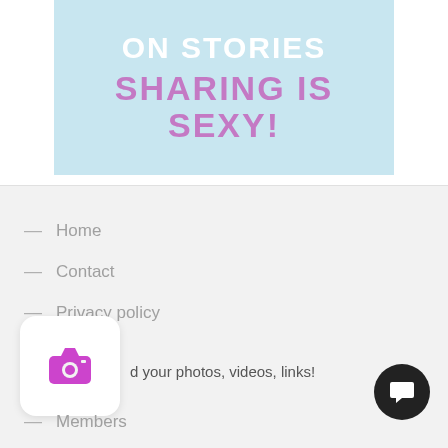[Figure (infographic): Light blue banner with white bold text 'ON STORIES' partially visible at top and purple bold text 'SHARING IS SEXY!' below]
— Home
— Contact
— Privacy policy
[Figure (illustration): White rounded square widget with a pink camera icon inside]
d your photos, videos, links!
— Members